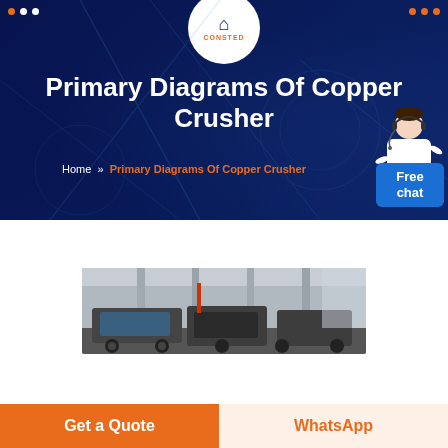CONSTED
Primary Diagrams Of Copper Crusher
Home » Primary Diagrams Of Copper Crusher
[Figure (photo): Industrial machinery in a large warehouse/factory setting showing crushing equipment]
Get a Quote
WhatsApp